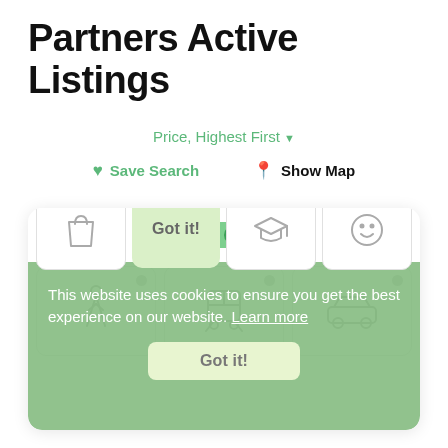Partners Active Listings
Price, Highest First ▼
♥ Save Search   📍 Show Map
[Figure (screenshot): UI panel with a green toggle switch (active), an up arrow, three transport category cards (walking figure, bus/train, car), and four more category cards (shopping bag, food, graduation cap, smiley face). A green cookie consent banner overlays the bottom portion reading: 'This website uses cookies to ensure you get the best experience on our website. Learn more' with a 'Got it!' button.]
This website uses cookies to ensure you get the best experience on our website. Learn more
Got it!